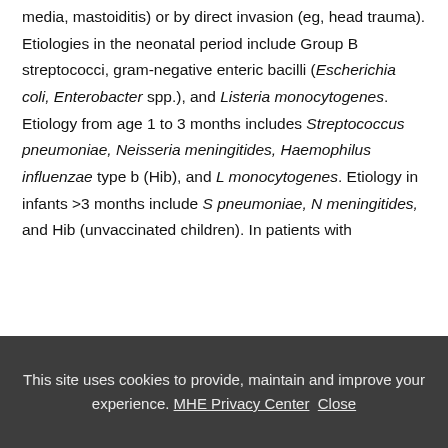media, mastoiditis) or by direct invasion (eg, head trauma). Etiologies in the neonatal period include Group B streptococci, gram-negative enteric bacilli (Escherichia coli, Enterobacter spp.), and Listeria monocytogenes. Etiology from age 1 to 3 months includes Streptococcus pneumoniae, Neisseria meningitides, Haemophilus influenzae type b (Hib), and L monocytogenes. Etiology in infants >3 months include S pneumoniae, N meningitides, and Hib (unvaccinated children). In patients with
This site uses cookies to provide, maintain and improve your experience. MHE Privacy Center  Close